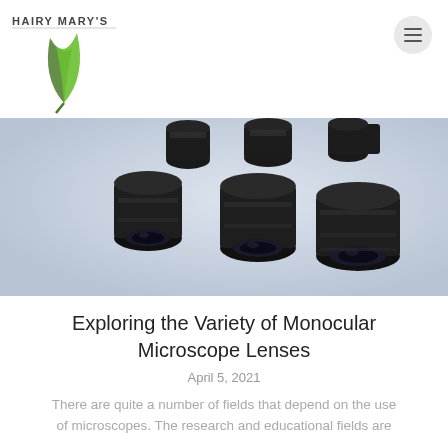HAIRY MARY'S
[Figure (photo): Multiple black monocular microscope lens objectives arranged on a light blue-grey gradient background, showing various sizes and configurations of microscope lenses]
Exploring the Variety of Monocular Microscope Lenses
April 5, 2021
There are quite a number of fields that depend on the use of microscopes. The research and educational fields are